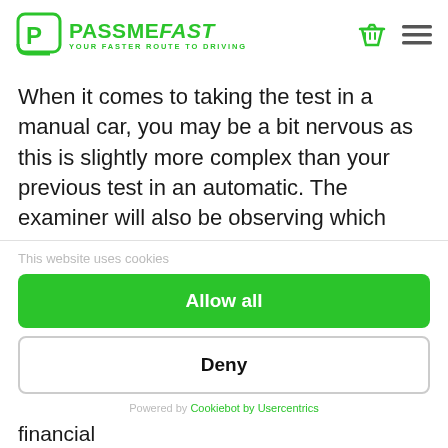[Figure (logo): PassMeFast logo - green P in box, 'PASSMEFAST' text, tagline 'YOUR FASTER ROUTE TO DRIVING']
When it comes to taking the test in a manual car, you may be a bit nervous as this is slightly more complex than your previous test in an automatic. The examiner will also be observing which gear you choose and how well you use the clutch.
This website uses cookies
Allow all
Deny
Powered by Cookiebot by Usercentrics
licence. Make the call armed with your financial